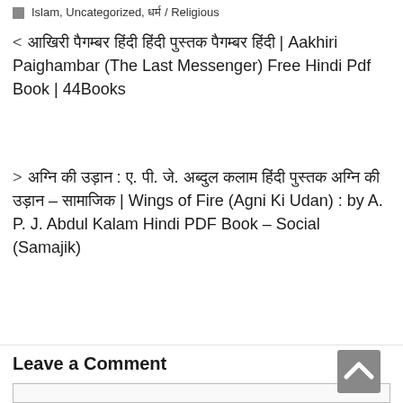Islam, Uncategorized, धर्म / Religious
< आखिरी पैगम्बर हिंदी हिंदी पुस्तक पैगम्बर हिंदी | Aakhiri Paighambar (The Last Messenger) Free Hindi Pdf Book | 44Books
> अग्नि की उड़ान : ए. पी. जे. अब्दुल कलाम हिंदी पुस्तक अग्नि की उड़ान – सामाजिक | Wings of Fire (Agni Ki Udan) : by A. P. J. Abdul Kalam Hindi PDF Book – Social (Samajik)
Leave a Comment